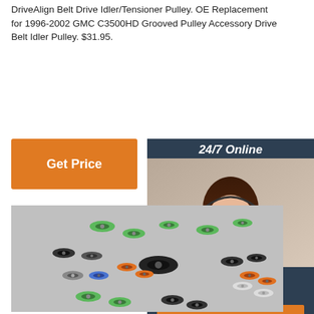DriveAlign Belt Drive Idler/Tensioner Pulley. OE Replacement for 1996-2002 GMC C3500HD Grooved Pulley Accessory Drive Belt Idler Pulley. $31.95.
[Figure (other): Orange 'Get Price' button]
[Figure (other): 24/7 Online chat box with woman customer service agent, 'Click here for free chat!' text, and orange QUOTATION button]
[Figure (photo): Product photo showing various colorful plastic/rubber pulleys and bearings scattered on a gray background — green, black, gray, orange, blue, white colored pulleys of different sizes]